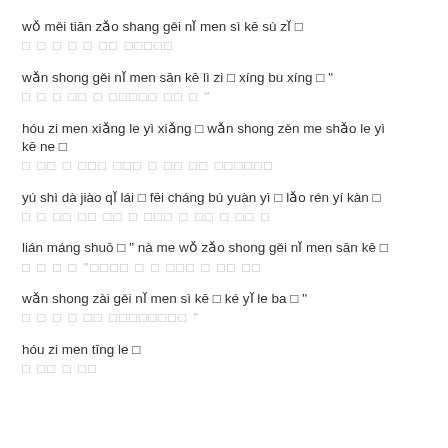wǒ měi tiān zǎo shang gěi nǐ men sì kē sù zǐ □
□ □  □ □   □ □□ □□□□□
wǎn shong gěi nǐ men sān kē lì zi □ xíng bu xíng □"
□ □  □ □□ □ □□□□□  □□  □"
hóu zi men xiǎng le yì xiǎng □ wǎn shong zěn me shǎo le yì kē ne □
□ □□ □  □□□  □□□  □  □□  □□ □□□□□□
yú shì dà jiào qǐ lái □ fēi cháng bú yuàn yì □ lǎo rén yí kàn □
□ □  □□ □□  □□  □  □□□ □  □□ □  □□ □
lián máng shuō □ " nà me wǒ zǎo shong gěi nǐ men sān kē □
□  □  □  □ "□□□□ □  □ □□□ □  □□  □□
wǎn shong zài gěi nǐ men sì kē □ ké yǐ le ba □"
□  □  □ □  □□ □□□□□□□□"
hóu zi men tīng le □
□ □□ □  □□